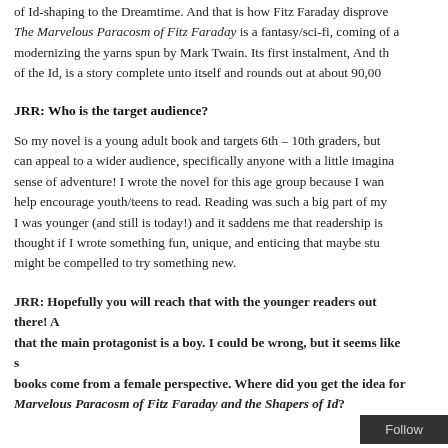of Id-shaping to the Dreamtime. And that is how Fitz Faraday disprove The Marvelous Paracosm of Fitz Faraday is a fantasy/sci-fi, coming of a modernizing the yarns spun by Mark Twain. Its first instalment, And th of the Id, is a story complete unto itself and rounds out at about 90,00
JRR: Who is the target audience?
So my novel is a young adult book and targets 6th – 10th graders, but can appeal to a wider audience, specifically anyone with a little imagina sense of adventure! I wrote the novel for this age group because I wan help encourage youth/teens to read. Reading was such a big part of my I was younger (and still is today!) and it saddens me that readership is thought if I wrote something fun, unique, and enticing that maybe stu might be compelled to try something new.
JRR: Hopefully you will reach that with the younger readers out there! A that the main protagonist is a boy. I could be wrong, but it seems like s books come from a female perspective. Where did you get the idea for Marvelous Paracosm of Fitz Faraday and the Shapers of Id?